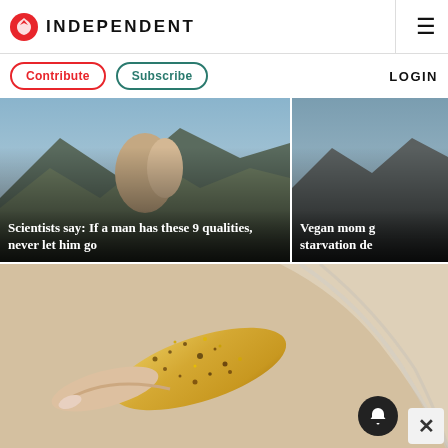INDEPENDENT
Contribute  Subscribe  LOGIN
[Figure (photo): Article card: couple embracing outdoors with mountains. Headline: Scientists say: If a man has these 9 qualities, never let him go]
[Figure (photo): Partially visible article card: Vegan mom g... starvation de...]
[Figure (photo): Close-up photo of a hand holding a golden glittery object over a ridged surface]